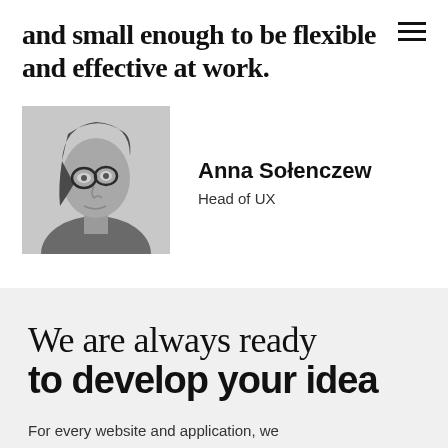and small enough to be flexible and effective at work.
[Figure (photo): Black and white profile photo of Anna Sołenczew, a woman wearing glasses, shown in side profile view.]
Anna Sołenczew
Head of UX
We are always ready to develop your idea
For every website and application, we